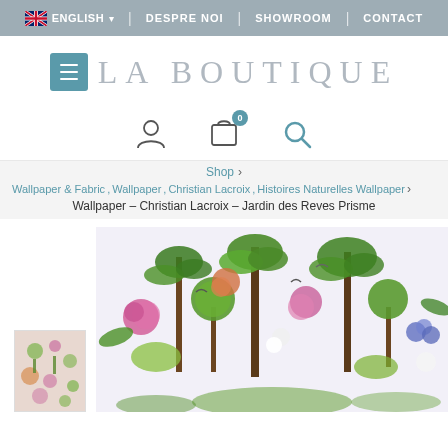ENGLISH | DESPRE NOI | SHOWROOM | CONTACT
LA BOUTIQUE
[Figure (screenshot): Navigation icons: user account, shopping cart with badge 0, search icon]
Shop >
Wallpaper & Fabric, Wallpaper, Christian Lacroix, Histoires Naturelles Wallpaper >
Wallpaper – Christian Lacroix – Jardin des Reves Prisme
[Figure (photo): Product wallpaper image showing colorful floral and botanical garden pattern with trees, flowers and birds on a light background - Christian Lacroix Jardin des Reves Prisme wallpaper. Includes a small thumbnail image on the left.]